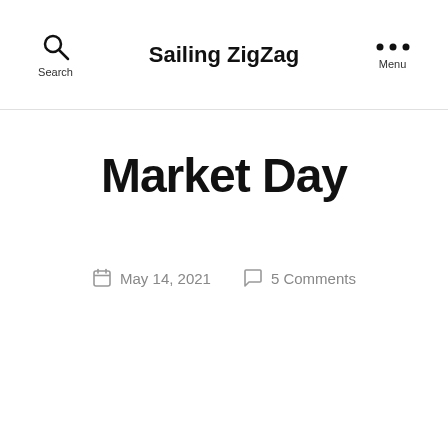Search | Sailing ZigZag | Menu
Market Day
May 14, 2021  5 Comments